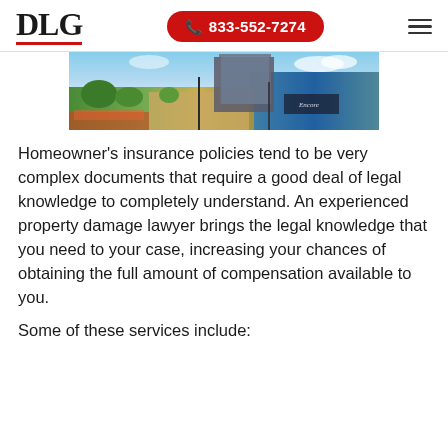DLG | 833-552-7274
[Figure (photo): Outdoor waterfront scene showing a walkway with gardens and a large modern building (Encore) in the background with water and blue sky]
Homeowner’s insurance policies tend to be very complex documents that require a good deal of legal knowledge to completely understand. An experienced property damage lawyer brings the legal knowledge that you need to your case, increasing your chances of obtaining the full amount of compensation available to you.
Some of these services include: